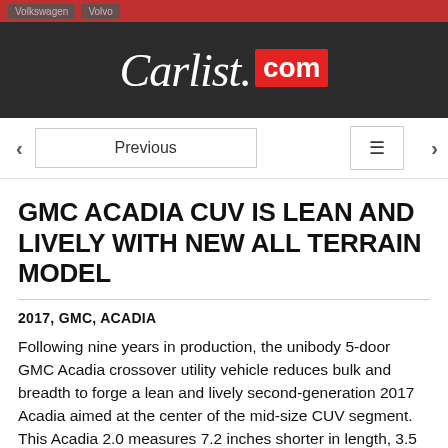Carlist.com
Previous  ≡
GMC ACADIA CUV IS LEAN AND LIVELY WITH NEW ALL TERRAIN MODEL
2017, GMC, ACADIA
Following nine years in production, the unibody 5-door GMC Acadia crossover utility vehicle reduces bulk and breadth to forge a lean and lively second-generation 2017 Acadia aimed at the center of the mid-size CUV segment. This Acadia 2.0 measures 7.2 inches shorter in length, 3.5 inches briefer in